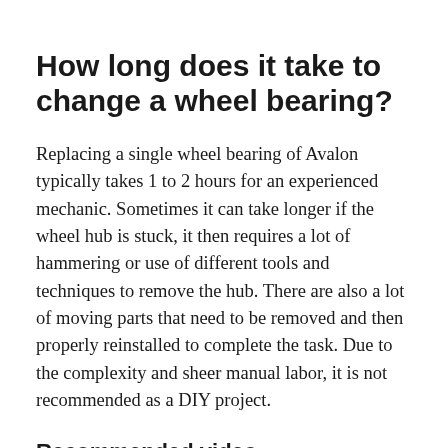How long does it take to change a wheel bearing?
Replacing a single wheel bearing of Avalon typically takes 1 to 2 hours for an experienced mechanic. Sometimes it can take longer if the wheel hub is stuck, it then requires a lot of hammering or use of different tools and techniques to remove the hub. There are also a lot of moving parts that need to be removed and then properly reinstalled to complete the task. Due to the complexity and sheer manual labor, it is not recommended as a DIY project.
Recommended video